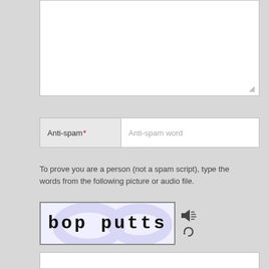[Figure (screenshot): Large empty text area input box with resize handle at bottom-right corner]
| Anti-spam* | Anti-spam word |
| --- | --- |
To prove you are a person (not a spam script), type the words from the following picture or audio file.
[Figure (screenshot): CAPTCHA image showing handwritten text 'bop putts' with audio and refresh icons beside it]